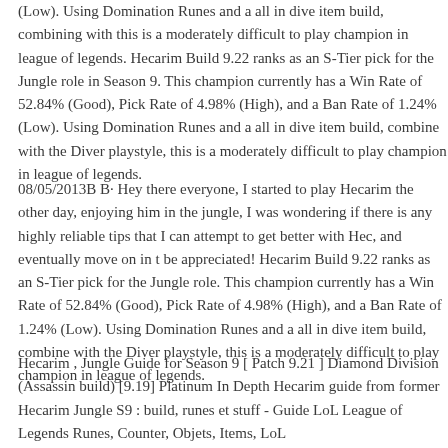(Low). Using Domination Runes and a all in dive item build, combining with the Diver playstyle, this is a moderately difficult to play champion in league of legends. Hecarim Build 9.22 ranks as an S-Tier pick for the Jungle role in Season 9. This champion currently has a Win Rate of 52.84% (Good), Pick Rate of 4.98% (High), and a Ban Rate of 1.24% (Low). Using Domination Runes and a all in dive item build, combine with the Diver playstyle, this is a moderately difficult to play champion in league of legends.
08/05/2013B B· Hey there everyone, I started to play Hecarim the other day, enjoying him in the jungle, I was wondering if there is any highly reliable tips that I can attempt to get better with Hec, and eventually move on in t be appreciated! Hecarim Build 9.22 ranks as an S-Tier pick for the Jungle role. This champion currently has a Win Rate of 52.84% (Good), Pick Rate of 4.98% (High), and a Ban Rate of 1.24% (Low). Using Domination Runes and a all in dive item build, combine with the Diver playstyle, this is a moderately difficult to play champion in league of legends.
Hecarim , Jungle Guide for Season 9 [ Patch 9.21 ] Diamond Division (Assassin build) [9.19] Platinum In Depth Hecarim guide from former Hecarim Jungle S9 : build, runes et stuff - Guide LoL League of Legends Runes, Counter, Objets, Items, LoL